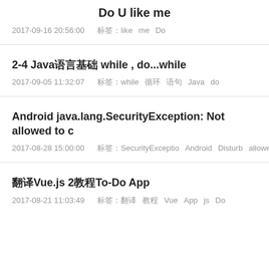Do U like me
2017-09-16 20:56:00   标签: like me Do
2-4 Java语言基础 while , do...while
2017-09-05 11:32:07   标签: while 循环 语句 Java do
Android java.lang.SecurityException: Not allowed to c
2017-08-28 15:00:00   标签: SecurityExceptio Android Disturb allowed
翻译Vue.js 2教程To-Do App
2017-08-21 11:03:49   标签: 翻译 教程 Vue App js Do